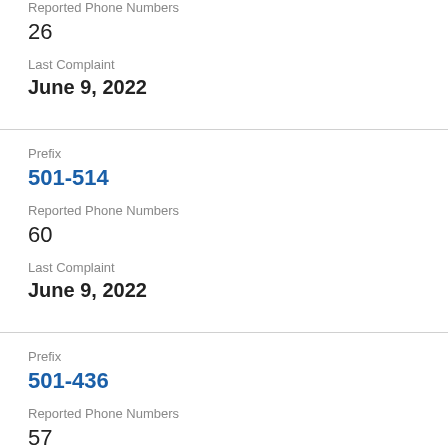Reported Phone Numbers
26
Last Complaint
June 9, 2022
Prefix
501-514
Reported Phone Numbers
60
Last Complaint
June 9, 2022
Prefix
501-436
Reported Phone Numbers
57